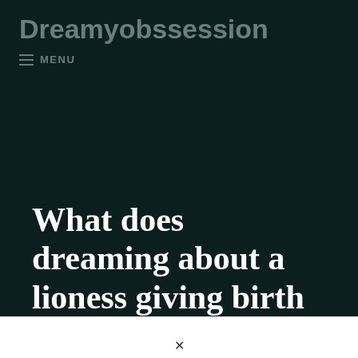Dreamyobssession
≡ MENU
What does dreaming about a lioness giving birth mean?